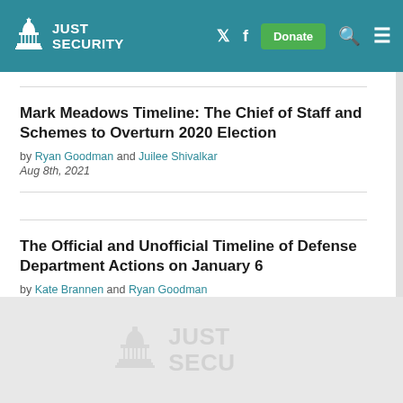Just Security — site navigation header with logo, Twitter, Facebook, Donate button, Search and Menu icons
Mark Meadows Timeline: The Chief of Staff and Schemes to Overturn 2020 Election
by Ryan Goodman and Juilee Shivalkar
Aug 8th, 2021
The Official and Unofficial Timeline of Defense Department Actions on January 6
by Kate Brannen and Ryan Goodman
May 11th, 2021
Just Security — footer logo